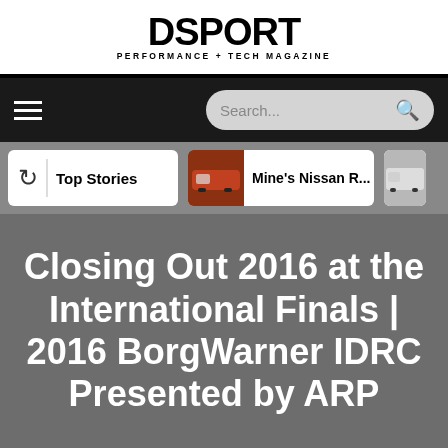DSPORT PERFORMANCE + TECH MAGAZINE
[Figure (screenshot): Navigation bar with hamburger menu and search box]
[Figure (screenshot): Tab strip with Top Stories and Mine's Nissan R... tabs]
Closing Out 2016 at the International Finals | 2016 BorgWarner IDRC Presented by ARP